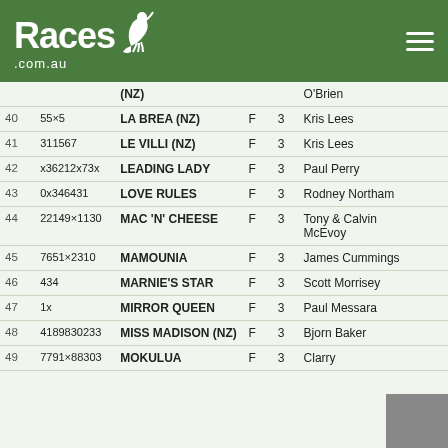Races.com.au
| # | ID | Name | Sex | Age | Trainer |  |
| --- | --- | --- | --- | --- | --- | --- |
|  |  | (NZ) |  |  | O'Brien |  |
| 40 | 55×5 | LA BREA (NZ) | F | 3 | Kris Lees |  |
| 41 | 311567 | LE VILLI (NZ) | F | 3 | Kris Lees |  |
| 42 | x36212x73x | LEADING LADY | F | 3 | Paul Perry |  |
| 43 | 0x346431 | LOVE RULES | F | 3 | Rodney Northam |  |
| 44 | 22149×1130 | MAC 'N' CHEESE | F | 3 | Tony & Calvin McEvoy |  |
| 45 | 7651×2310 | MAMOUNIA | F | 3 | James Cummings |  |
| 46 | 434 | MARNIE'S STAR | F | 3 | Scott Morrisey |  |
| 47 | 1x | MIRROR QUEEN | F | 3 | Paul Messara |  |
| 48 | 4189830233 | MISS MADISON (NZ) | F | 3 | Bjorn Baker |  |
| 49 | 7791×88303 | MOKULUA | F | 3 | Clarry |  |